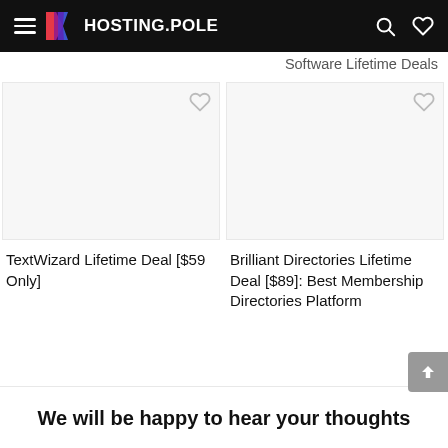Hosting Pole
Software Lifetime Deals
TextWizard Lifetime Deal [$59 Only]
Brilliant Directories Lifetime Deal [$89]: Best Membership Directories Platform
We will be happy to hear your thoughts